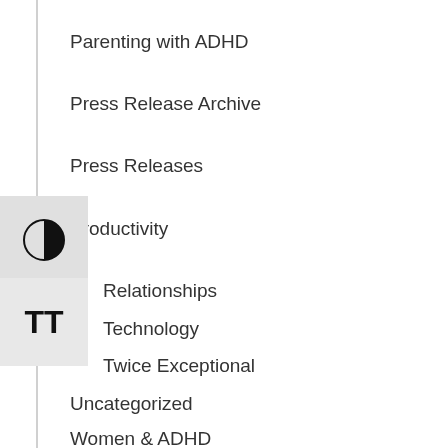Parenting with ADHD
Press Release Archive
Press Releases
Productivity
Relationships
Technology
Twice Exceptional
Uncategorized
Women & ADHD